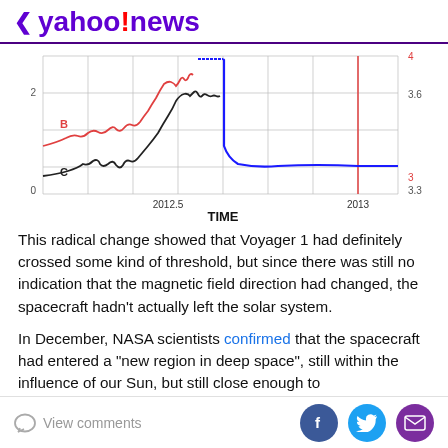< yahoo!news
[Figure (continuous-plot): Scientific chart showing particle data vs TIME with labeled curves B (red) and C (black) on left y-axis (0-4 scale), and blue curve on right y-axis (3.3-4 scale). X-axis shows TIME from 2012.5 to 2013. Red vertical line near 2013. Black curve rises then stabilizes; blue curve drops sharply then stabilizes around 3; red curve (B) oscillates lower.]
This radical change showed that Voyager 1 had definitely crossed some kind of threshold, but since there was still no indication that the magnetic field direction had changed, the spacecraft hadn't actually left the solar system.
In December, NASA scientists confirmed that the spacecraft had entered a "new region in deep space", still within the influence of our Sun, but still close enough to
View comments